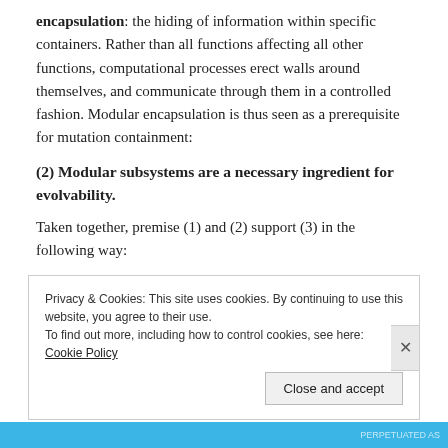encapsulation: the hiding of information within specific containers. Rather than all functions affecting all other functions, computational processes erect walls around themselves, and communicate through them in a controlled fashion. Modular encapsulation is thus seen as a prerequisite for mutation containment:
(2) Modular subsystems are a necessary ingredient for evolvability.
Taken together, premise (1) and (2) support (3) in the following way:
Privacy & Cookies: This site uses cookies. By continuing to use this website, you agree to their use.
To find out more, including how to control cookies, see here: Cookie Policy
Close and accept